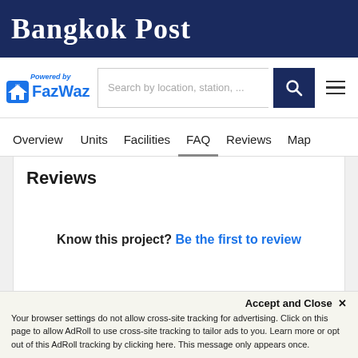Bangkok Post
[Figure (logo): FazWaz logo with house icon and 'Powered by' text, alongside a search bar and hamburger menu]
Overview  Units  Facilities  FAQ  Reviews  Map
Reviews
Know this project?  Be the first to review
Accept and Close ✕
Your browser settings do not allow cross-site tracking for advertising. Click on this page to allow AdRoll to use cross-site tracking to tailor ads to you. Learn more or opt out of this AdRoll tracking by clicking here. This message only appears once.